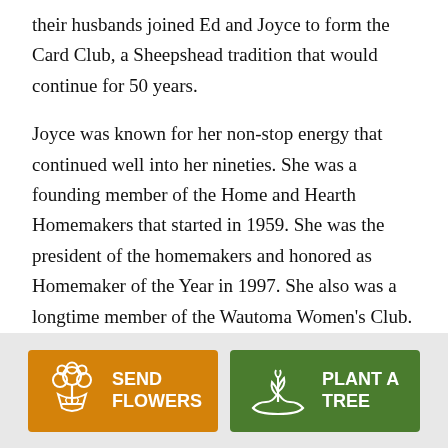their husbands joined Ed and Joyce to form the Card Club, a Sheepshead tradition that would continue for 50 years.
Joyce was known for her non-stop energy that continued well into her nineties. She was a founding member of the Home and Hearth Homemakers that started in 1959. She was the president of the homemakers and honored as Homemaker of the Year in 1997. She also was a longtime member of the Wautoma Women's Club.
[Figure (infographic): Two buttons at the bottom: an orange 'SEND FLOWERS' button with a flower bouquet icon, and a green 'PLANT A TREE' button with a seedling/hand icon.]